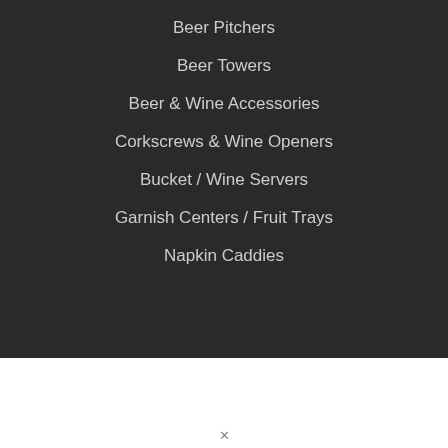Beer Pitchers
Beer Towers
Beer & Wine Accessories
Corkscrews & Wine Openers
Bucket / Wine Servers
Garnish Centers / Fruit Trays
Napkin Caddies